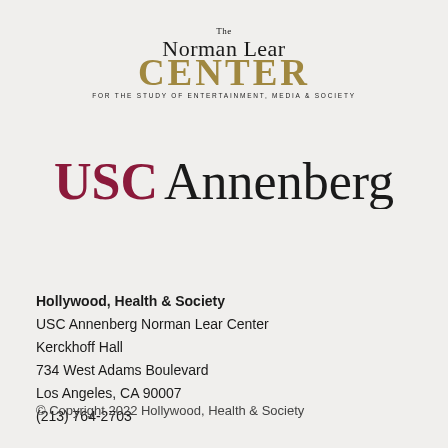[Figure (logo): The Norman Lear Center logo — 'The Norman Lear' in black serif above 'CENTER' in large gold bold serif, with tagline 'FOR THE STUDY OF ENTERTAINMENT, MEDIA & SOCIETY' in small caps below]
[Figure (logo): USC Annenberg logo — 'USC' in dark red/crimson bold serif and 'Annenberg' in black serif, large font]
Hollywood, Health & Society
USC Annenberg Norman Lear Center
Kerckhoff Hall
734 West Adams Boulevard
Los Angeles, CA 90007
(213) 764-2703
© Copyright 2022 Hollywood, Health & Society

All rights reserved.